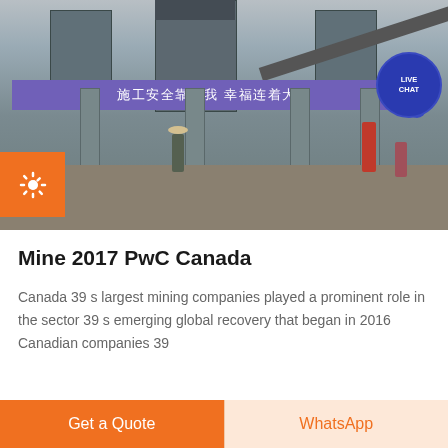[Figure (photo): Industrial mining/construction site with large hoppers and conveyor belts, workers visible, Chinese safety banner reading 施工安全靠你我 幸福连着大, live chat bubble overlay in top right, orange settings gear button on left side]
Mine 2017 PwC Canada
Canada 39 s largest mining companies played a prominent role in the sector 39 s emerging global recovery that began in 2016 Canadian companies 39
Get a Quote | WhatsApp